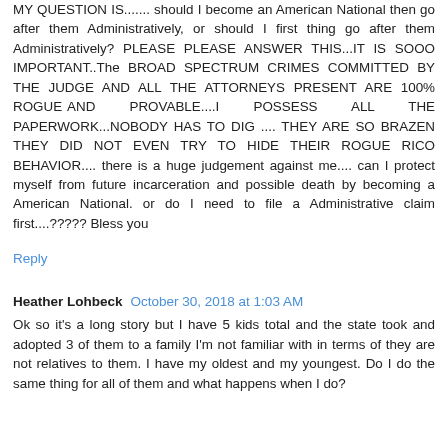MY QUESTION IS....... should I become an American National then go after them Administratively, or should I first thing go after them Administratively? PLEASE PLEASE ANSWER THIS...IT IS SOOO IMPORTANT..The BROAD SPECTRUM CRIMES COMMITTED BY THE JUDGE AND ALL THE ATTORNEYS PRESENT ARE 100% ROGUE AND PROVABLE....I POSSESS ALL THE PAPERWORK...NOBODY HAS TO DIG .... THEY ARE SO BRAZEN THEY DID NOT EVEN TRY TO HIDE THEIR ROGUE RICO BEHAVIOR.... there is a huge judgement against me.... can I protect myself from future incarceration and possible death by becoming a American National. or do I need to file a Administrative claim first....????? Bless you
Reply
Heather Lohbeck   October 30, 2018 at 1:03 AM
Ok so it's a long story but I have 5 kids total and the state took and adopted 3 of them to a family I'm not familiar with in terms of they are not relatives to them. I have my oldest and my youngest. Do I do the same thing for all of them and what happens when I do?